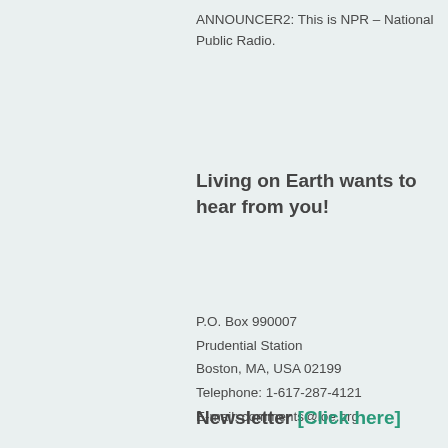ANNOUNCER2: This is NPR – National Public Radio.
Living on Earth wants to hear from you!
P.O. Box 990007
Prudential Station
Boston, MA, USA 02199
Telephone: 1-617-287-4121
E-mail: comments@loe.org
Newsletter [Click here]